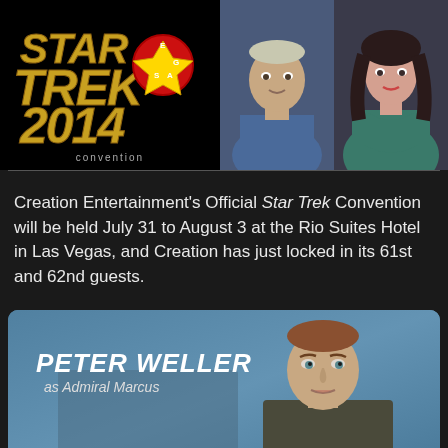[Figure (logo): Star Trek Vegas 2014 Convention logo with red and gold design on black background]
[Figure (photo): Two actor headshots side by side: a male actor in blue Star Trek uniform on the left, and a female actress in green/teal outfit on the right]
Creation Entertainment's Official Star Trek Convention will be held July 31 to August 3 at the Rio Suites Hotel in Las Vegas, and Creation has just locked in its 61st and 62nd guests.
[Figure (photo): Peter Weller as Admiral Marcus - promotional image showing actor Peter Weller in character as Admiral Marcus from Star Trek, with name card overlay reading 'PETER WELLER as Admiral Marcus']